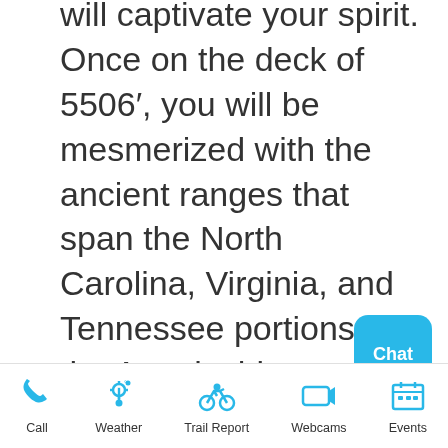will captivate your spirit. Once on the deck of 5506', you will be mesmerized with the ancient ranges that span the North Carolina, Virginia, and Tennessee portions of the Appalachian Mountains. A sense of calm and peace will overcome you just because of the environment that surrounds you. Once the
[Figure (screenshot): Chat button (cyan/blue rounded square with white 'Chat' label)]
Call | Weather | Trail Report | Webcams | Events